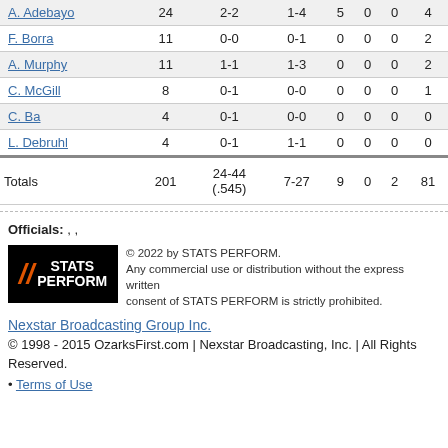| A. Adebayo | 24 | 2-2 | 1-4 | 5 | 0 | 0 | 4 |
| F. Borra | 11 | 0-0 | 0-1 | 0 | 0 | 0 | 2 |
| A. Murphy | 11 | 1-1 | 1-3 | 0 | 0 | 0 | 2 |
| C. McGill | 8 | 0-1 | 0-0 | 0 | 0 | 0 | 1 |
| C. Ba | 4 | 0-1 | 0-0 | 0 | 0 | 0 | 0 |
| L. Debruhl | 4 | 0-1 | 1-1 | 0 | 0 | 0 | 0 |
| Totals | 201 | 24-44 (.545) | 7-27 | 9 | 0 | 2 | 81 |
Officials: , ,
[Figure (logo): STATS PERFORM logo with slash icon on black background]
© 2022 by STATS PERFORM. Any commercial use or distribution without the express written consent of STATS PERFORM is strictly prohibited.
Nexstar Broadcasting Group Inc.
© 1998 - 2015 OzarksFirst.com | Nexstar Broadcasting, Inc. | All Rights Reserved.
Terms of Use